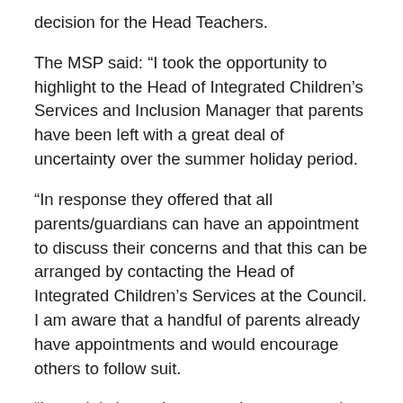decision for the Head Teachers.
The MSP said: “I took the opportunity to highlight to the Head of Integrated Children’s Services and Inclusion Manager that parents have been left with a great deal of uncertainty over the summer holiday period.
“In response they offered that all parents/guardians can have an appointment to discuss their concerns and that this can be arranged by contacting the Head of Integrated Children’s Services at the Council. I am aware that a handful of parents already have appointments and would encourage others to follow suit.
“I certainly hope these meetings prove to be helpful… it strikes me that increased